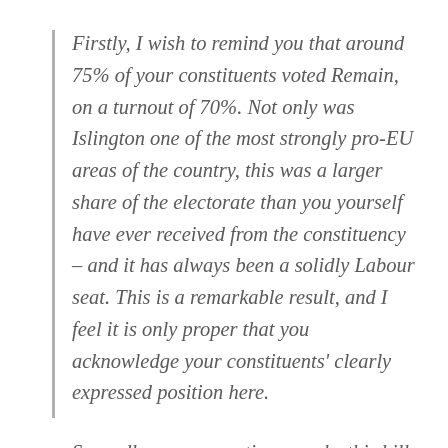Firstly, I wish to remind you that around 75% of your constituents voted Remain, on a turnout of 70%. Not only was Islington one of the most strongly pro-EU areas of the country, this was a larger share of the electorate than you yourself have ever received from the constituency – and it has always been a solidly Labour seat. This is a remarkable result, and I feel it is only proper that you acknowledge your constituents' clearly expressed position here.
Secondly, on pragmatic grounds, this bill is